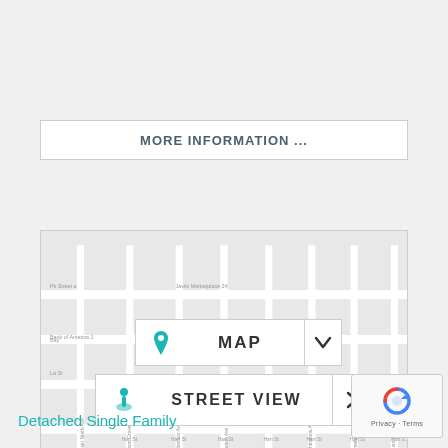MORE INFORMATION ...
[Figure (map): Street map showing urban grid with overlaid MAP and STREET VIEW buttons. The map shows city blocks with street labels. A teal location pin marks a point on the map.]
Detached Single Family